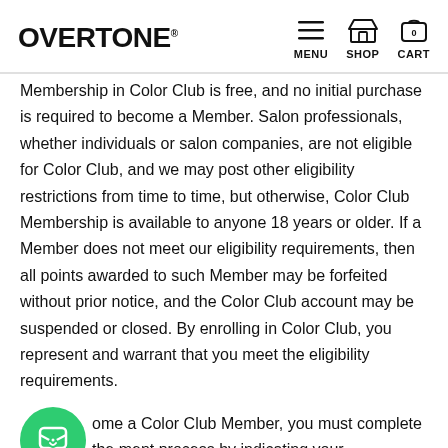OVERTONE | MENU | SHOP | CART
Membership in Color Club is free, and no initial purchase is required to become a Member. Salon professionals, whether individuals or salon companies, are not eligible for Color Club, and we may post other eligibility restrictions from time to time, but otherwise, Color Club Membership is available to anyone 18 years or older. If a Member does not meet our eligibility requirements, then all points awarded to such Member may be forfeited without prior notice, and the Color Club account may be suspended or closed. By enrolling in Color Club, you represent and warrant that you meet the eligibility requirements.
ome a Color Club Member, you must complete the ment process by indicating your acceptance of the Color Club Terms and providing complete and accurate